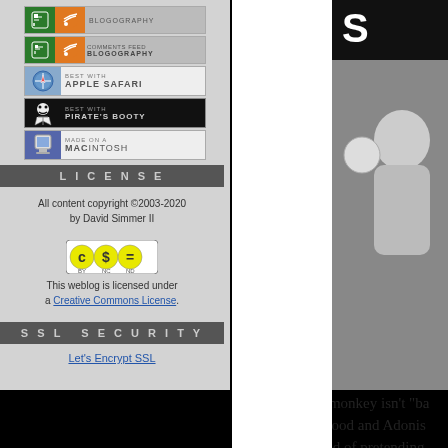[Figure (screenshot): Left sidebar panel of a blog website showing badge images for Blogography RSS feed, Comments Feed Blogography, Best with Apple Safari, Best with Pirate's Booty, and Made on a Macintosh]
LICENSE
All content copyright ©2003-2020 by David Simmer II
[Figure (logo): Creative Commons BY NC ND license badge]
This weblog is licensed under a Creative Commons License.
SSL SECURITY
Let's Encrypt SSL
[Figure (photo): Partial photo of a person on the right side, cropped]
Holy crap! My monkey isn't "ba
He's got tiger blood and Adonis
Because I'm tired of pretending